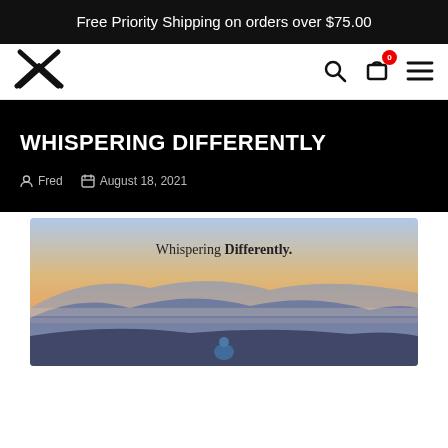Free Priority Shipping on orders over $75.00
[Figure (logo): X-shaped brand logo in black]
WHISPERING DIFFERENTLY
Fred  August 18, 2021
[Figure (photo): Person sitting on a mountain peak at sunrise/sunset with layered misty mountains in background. Text overlay reads: Whispering Differently.]